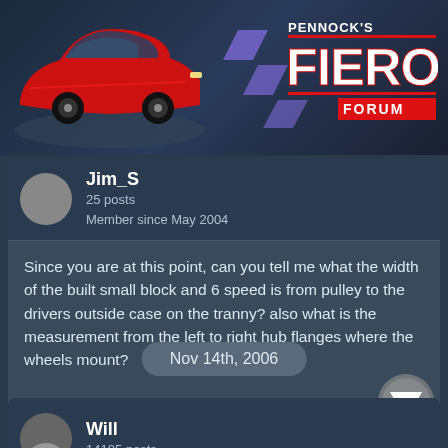[Figure (logo): Pennock's Fiero Forum header with red Fiero car and stylized logo text]
Jim_S
25 posts
Member since May 2004
Since you are at this point, can you tell me what the width of the built small block and 6 speed is from pulley to the drivers outside case on the tranny? also what is the measurement from the left to right hub flanges where the wheels mount?

Thanks,
Jim
03:41 PM
Nov 14th, 2006
Will
14105 posts